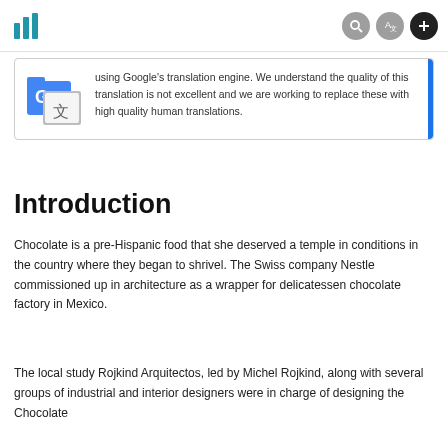[Figure (other): Google Translate icon showing blue folder with G and translation symbol]
using Google's translation engine. We understand the quality of this translation is not excellent and we are working to replace these with high quality human translations.
Introduction
Chocolate is a pre-Hispanic food that she deserved a temple in conditions in the country where they began to shrivel. The Swiss company Nestle commissioned up in architecture as a wrapper for delicatessen chocolate factory in Mexico.
The local study Rojkind Arquitectos, led by Michel Rojkind, along with several groups of industrial and interior designers were in charge of designing the Chocolate